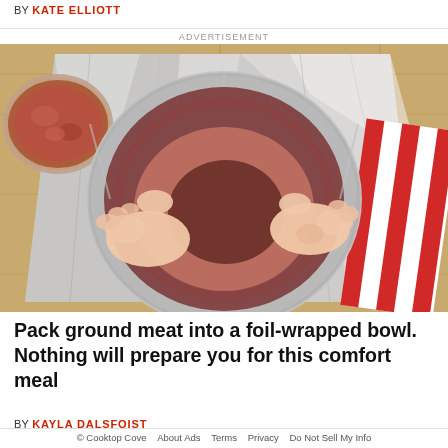BY KATE ELLIOTT
ADVERTISEMENT
[Figure (photo): Overhead view of hands pressing ground meat into a foil-wrapped bowl on a wooden cutting board, with a bowl of raw ground meat visible in the top left and a red-and-white striped cloth in the right corner.]
Pack ground meat into a foil-wrapped bowl. Nothing will prepare you for this comfort meal
BY KAYLA DALSFOIST
© Cooktop Cove   About Ads   Terms   Privacy   Do Not Sell My Info